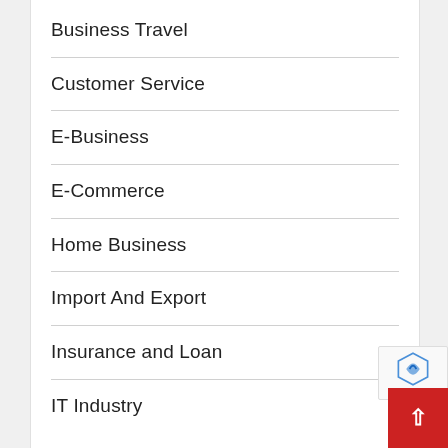Business Travel
Customer Service
E-Business
E-Commerce
Home Business
Import And Export
Insurance and Loan
IT Industry